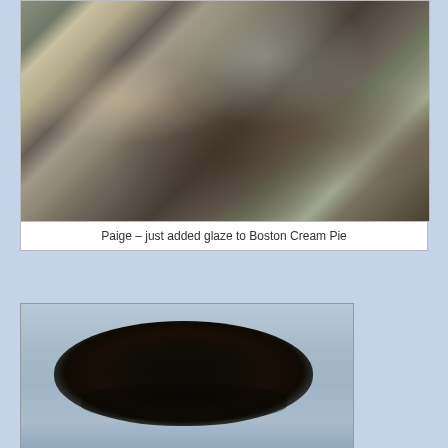[Figure (photo): A woman in a striped apron adding glaze to a Boston Cream Pie in a kitchen setting, with water bottles and kitchen equipment visible on the counter]
Paige – just added glaze to Boston Cream Pie
[Figure (photo): Close-up of a Boston Cream Pie with dark chocolate glaze poured over it, sitting on a light blue surface]